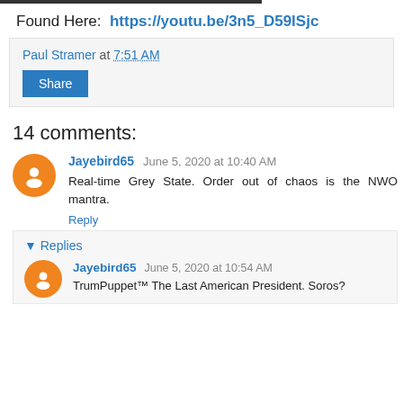Found Here:  https://youtu.be/3n5_D59lSjc
Paul Stramer at 7:51 AM
Share
14 comments:
Jayebird65  June 5, 2020 at 10:40 AM
Real-time Grey State. Order out of chaos is the NWO mantra.
Reply
▼ Replies
Jayebird65  June 5, 2020 at 10:54 AM
TrumPuppet™ The Last American President. Soros?